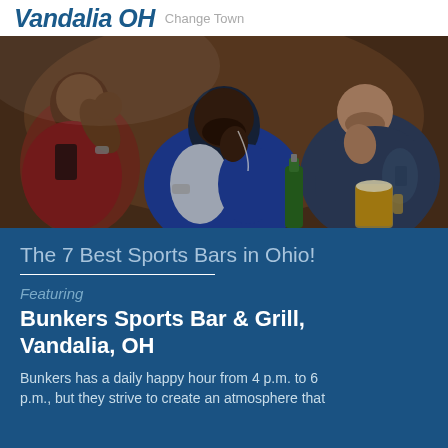Vandalia OH Change Town
[Figure (photo): Three men sitting at a sports bar watching a game intently, with beer bottles and mugs on the table in front of them.]
The 7 Best Sports Bars in Ohio!
Featuring
Bunkers Sports Bar & Grill, Vandalia, OH
Bunkers has a daily happy hour from 4 p.m. to 6 p.m., but they strive to create an atmosphere that